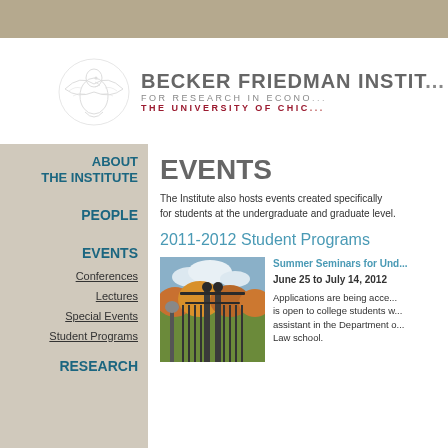[Figure (logo): Becker Friedman Institute for Research in Economics, The University of Chicago logo with eagle watermark]
BECKER FRIEDMAN INSTITUTE FOR RESEARCH IN ECONOMICS THE UNIVERSITY OF CHICAGO
ABOUT THE INSTITUTE
PEOPLE
EVENTS
Conferences
Lectures
Special Events
Student Programs
RESEARCH
EVENTS
The Institute also hosts events created specifically for students at the undergraduate and graduate level.
2011-2012 Student Programs
[Figure (photo): University of Chicago autumn gate photo with ornate iron gate and fall foliage]
Summer Seminars for Und...
June 25 to July 14, 2012
Applications are being accepted... is open to college students w... assistant in the Department o... Law school.